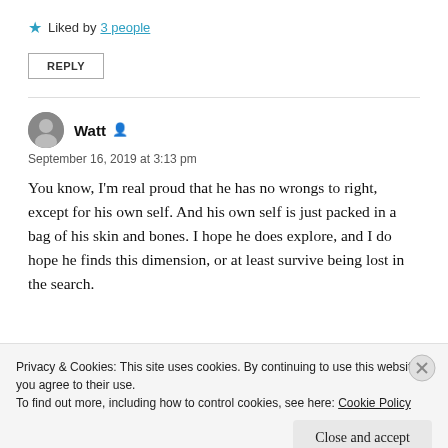★ Liked by 3 people
REPLY
Watt
September 16, 2019 at 3:13 pm
You know, I'm real proud that he has no wrongs to right, except for his own self. And his own self is just packed in a bag of his skin and bones. I hope he does explore, and I do hope he finds this dimension, or at least survive being lost in the search.
Privacy & Cookies: This site uses cookies. By continuing to use this website, you agree to their use.
To find out more, including how to control cookies, see here: Cookie Policy
Close and accept